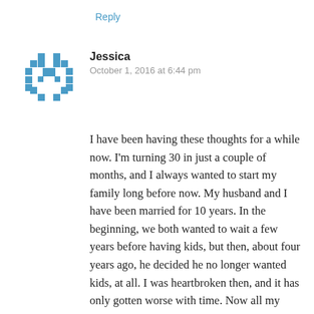Reply
[Figure (illustration): Blue pixel/mosaic pattern avatar icon for user Jessica]
Jessica
October 1, 2016 at 6:44 pm
I have been having these thoughts for a while now. I'm turning 30 in just a couple of months, and I always wanted to start my family long before now. My husband and I have been married for 10 years. In the beginning, we both wanted to wait a few years before having kids, but then, about four years ago, he decided he no longer wanted kids, at all. I was heartbroken then, and it has only gotten worse with time. Now all my friends are married and trying for kids. Every time I log in to Facebook, I am